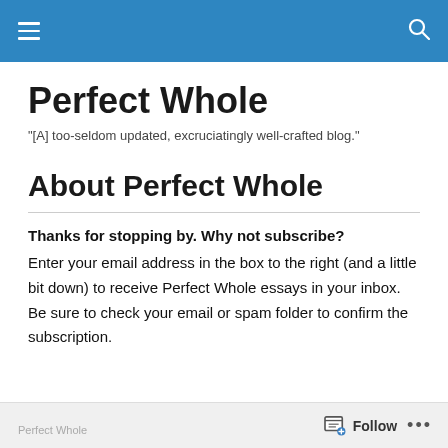Perfect Whole [navigation bar]
Perfect Whole
"[A] too-seldom updated, excruciatingly well-crafted blog."
About Perfect Whole
Thanks for stopping by.  Why not subscribe? Enter your email address in the box to the right (and a little bit down) to receive Perfect Whole essays in your inbox. Be sure to check your email or spam folder to confirm the subscription.
Follow